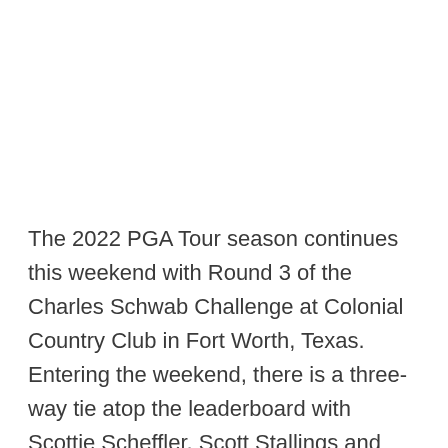The 2022 PGA Tour season continues this weekend with Round 3 of the Charles Schwab Challenge at Colonial Country Club in Fort Worth, Texas.
Entering the weekend, there is a three-way tie atop the leaderboard with Scottie Scheffler, Scott Stallings and Beau Hossler all at 9 under...